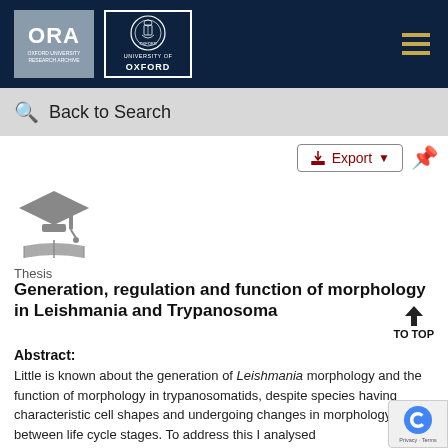[Figure (logo): ORA (Oxford University Research Archive) logo and University of Oxford logo on dark navy header bar with hamburger menu icon]
Back to Search
[Figure (illustration): Graduation cap and open book icon representing a Thesis document type]
Thesis
Generation, regulation and function of morphology in Leishmania and Trypanosoma
Abstract:
Little is known about the generation of Leishmania morphology and the function of morphology in trypanosomatids, despite species having characteristic cell shapes and undergoing changes in morphology between life cycle stages. To address this I analysed